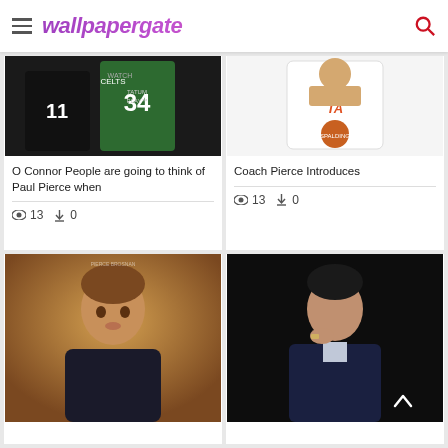wallpapergate
[Figure (photo): Basketball jerseys showing Celtics #11 and #34 with 'Tatum Play' text]
O Connor People are going to think of Paul Pierce when
👁 13  ⬇ 0
[Figure (photo): Basketball player in Atlanta Hawks jersey holding a Spalding ball]
Coach Pierce Introduces
👁 13  ⬇ 0
[Figure (photo): Male actor with brown hair on orange/brown background]
[Figure (photo): Male actor in dark suit on black background, hand raised to chin]